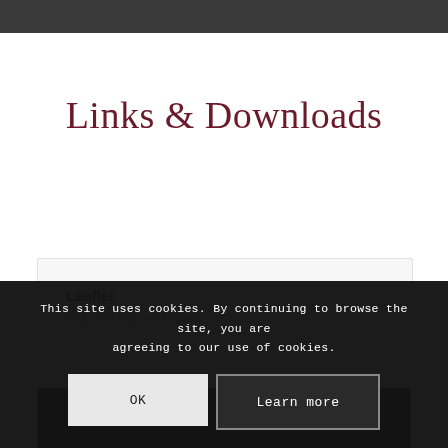Links & Downloads
Leaflet
I2k Retina software
This site uses cookies. By continuing to browse the site, you are agreeing to our use of cookies.
OK
Learn more